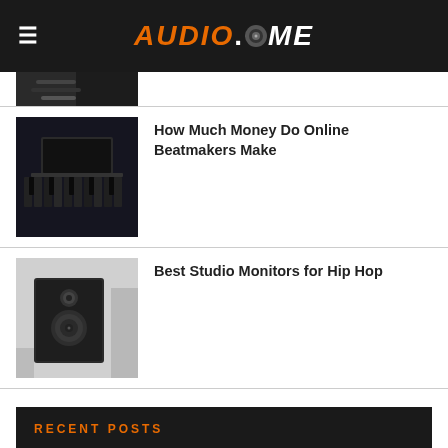AUDIO.DOME
[Figure (photo): Partial thumbnail of a keyboard/instrument photo at top of list]
How Much Money Do Online Beatmakers Make
[Figure (photo): Black and white photo of music production setup with keyboard and laptop]
Best Studio Monitors for Hip Hop
[Figure (photo): Photo of dark studio monitor speaker on desk]
RECENT POSTS